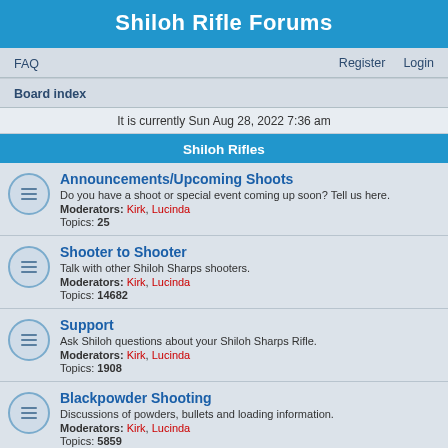Shiloh Rifle Forums
FAQ   Register   Login
Board index
It is currently Sun Aug 28, 2022 7:36 am
Shiloh Rifles
Announcements/Upcoming Shoots
Do you have a shoot or special event coming up soon? Tell us here.
Moderators: Kirk, Lucinda
Topics: 25
Shooter to Shooter
Talk with other Shiloh Sharps shooters.
Moderators: Kirk, Lucinda
Topics: 14682
Support
Ask Shiloh questions about your Shiloh Sharps Rifle.
Moderators: Kirk, Lucinda
Topics: 1908
Blackpowder Shooting
Discussions of powders, bullets and loading information.
Moderators: Kirk, Lucinda
Topics: 5859
1863 Support/Shooting
Support for the 1863 shooter. Discussions of powders, loads, bullets...